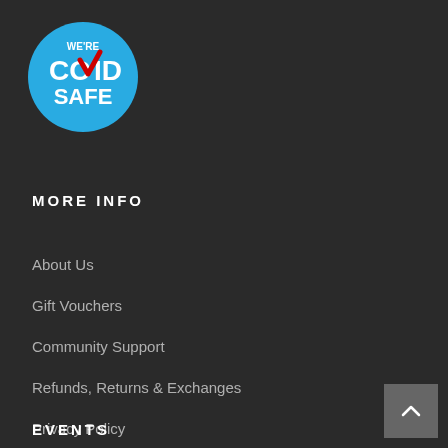[Figure (logo): We're COVID Safe badge - circular blue badge with white text 'WE'RE COVID SAFE' and a red checkmark]
MORE INFO
About Us
Gift Vouchers
Community Support
Refunds, Returns & Exchanges
Privacy Policy
EVENTS